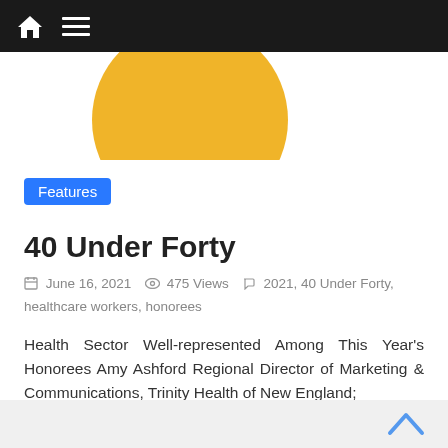Navigation bar with home icon and menu icon
[Figure (illustration): Partial view of a golden/yellow circle on white background, cropped at top]
Features
40 Under Forty
June 16, 2021   475 Views   2021, 40 Under Forty, healthcare workers, honorees
Health Sector Well-represented Among This Year's Honorees Amy Ashford Regional Director of Marketing & Communications, Trinity Health of New England;
Read more